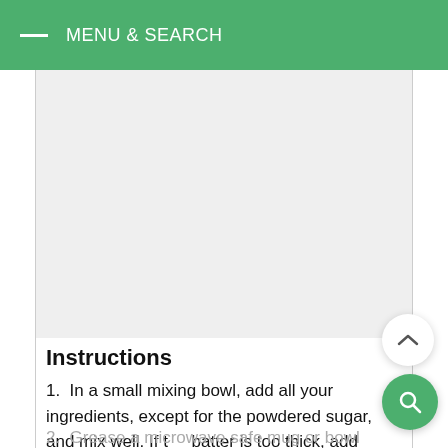MENU & SEARCH
[Figure (other): Blank gray content/image area placeholder]
Instructions
In a small mixing bowl, add all your ingredients, except for the powdered sugar, and mix well. If the batter is too thick, add extra milk.
Grease a microwave safe mug or bowl generously and pour the batter in it and microwave for 1 minute.